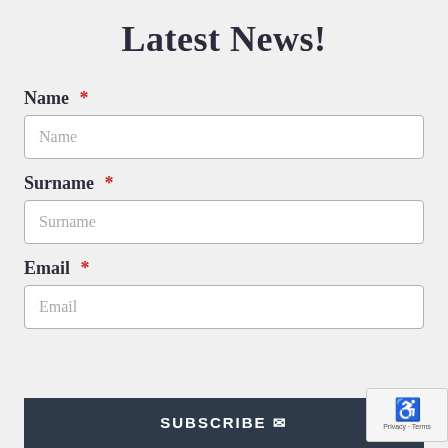Latest News!
Name *
Surname *
Email *
SUBSCRIBE ✉